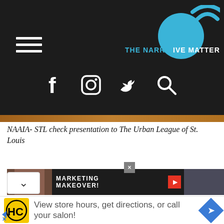[Figure (screenshot): Website navigation bar with hamburger menu on left and The Narrative Matters logo on right, dark background]
[Figure (screenshot): Social media icons row: Facebook, Instagram, Twitter, Search magnifier on dark background]
NAAIA- STL check presentation to The Urban League of St. Louis
[Figure (screenshot): Advertisement banner showing Marketing Makeover video thumbnail with two people]
View store hours, get directions, or call your salon!